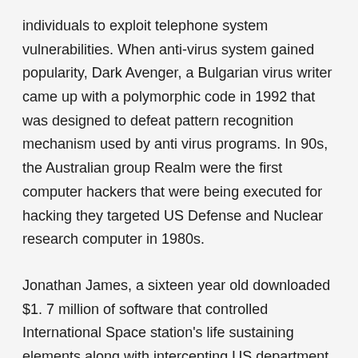individuals to exploit telephone system vulnerabilities. When anti-virus system gained popularity, Dark Avenger, a Bulgarian virus writer came up with a polymorphic code in 1992 that was designed to defeat pattern recognition mechanism used by anti virus programs. In 90s, the Australian group Realm were the first computer hackers that were being executed for hacking they targeted US Defense and Nuclear research computer in 1980s.
Jonathan James, a sixteen year old downloaded $1. 7 million of software that controlled International Space station's life sustaining elements along with intercepting US department of defense's electronic messages for their nuclear program. He was the youngest US hacker sentenced. Valdimir Levin, a Russian is considered to be a mastermind behind $10million worth of robbery at Citibank. Kevin Mitnick was once the